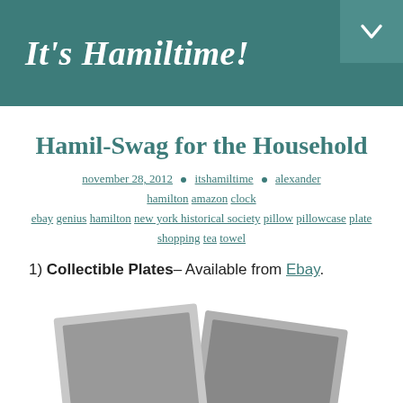It's Hamiltime!
Hamil-Swag for the Household
november 28, 2012 • itshamiltime • alexander hamilton amazon clock ebay genius hamilton new york historical society pillow pillowcase plate shopping tea towel
1) Collectible Plates– Available from Ebay.
[Figure (photo): Two overlapping plates shown as greyscale placeholder images]